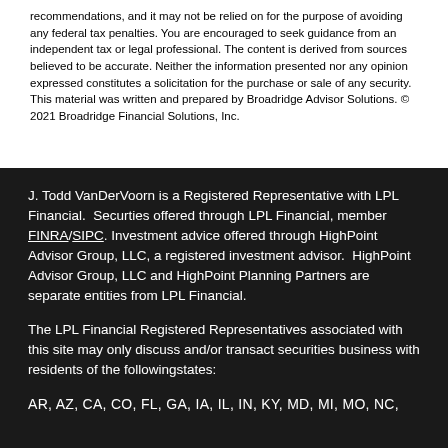recommendations, and it may not be relied on for the purpose of avoiding any federal tax penalties. You are encouraged to seek guidance from an independent tax or legal professional. The content is derived from sources believed to be accurate. Neither the information presented nor any opinion expressed constitutes a solicitation for the purchase or sale of any security. This material was written and prepared by Broadridge Advisor Solutions. © 2021 Broadridge Financial Solutions, Inc.
J. Todd VanDerVoorn is a Registered Representative with LPL Financial.  Securties offered through LPL Financial, member FINRA/SIPC. Investment advice offered through HighPoint Advisor Group, LLC, a registered investment advisor.  HighPoint Advisor Group, LLC and HighPoint Planning Partners are separate entities from LPL Financial.
The LPL Financial Registered Representatives associated with this site may only discuss and/or transact securities business with residents of the followingstates:
AR, AZ, CA, CO, FL, GA, IA, IL, IN, KY, MD, MI, MO, NC,